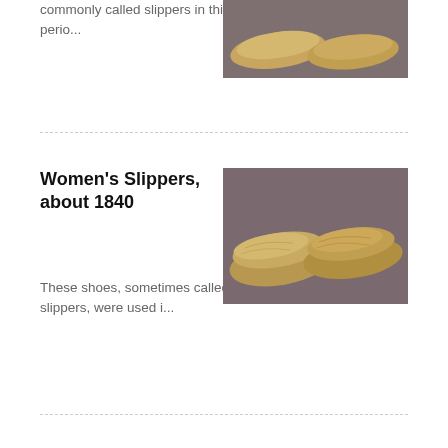commonly called slippers in this perio...
[Figure (photo): Close-up photo of historical women's slippers against a grey-brown background, showing two tan/gold colored shoe tops]
Women's Slippers, about 1840
These shoes, sometimes called slippers, were used i...
[Figure (photo): Photo of two women's slippers from about 1840, tan/gold colored, displayed against a grey-brown background, showing full shoe profile]